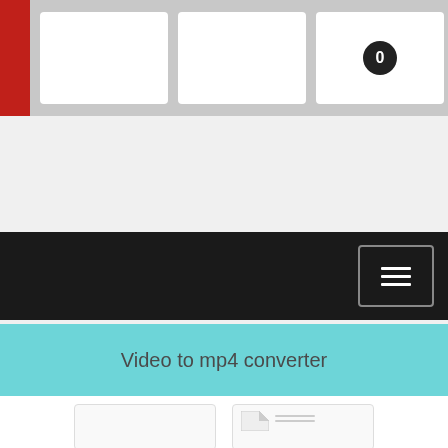[Figure (screenshot): Website header with logo area in red on left, three white navigation boxes, and a circular badge showing '0']
[Figure (screenshot): Dark navigation bar with hamburger menu button on the right side]
[Figure (screenshot): Light grey advertisement or content placeholder area]
Video to mp4 converter
[Figure (screenshot): Two card/panel elements at the bottom: a blank white card and a document icon card with folded corner]